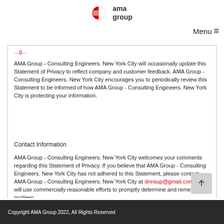[Figure (logo): AMA Group logo with red circular icon and text 'ama group']
Menu ≡
AMA Group - Consulting Engineers. New York City will occasionally update this Statement of Privacy to reflect company and customer feedback. AMA Group - Consulting Engineers. New York City encourages you to periodically review this Statement to be informed of how AMA Group - Consulting Engineers. New York City is protecting your information.
Contact Information
AMA Group - Consulting Engineers. New York City welcomes your comments regarding this Statement of Privacy. If you believe that AMA Group - Consulting Engineers. New York City has not adhered to this Statement, please contact AMA Group - Consulting Engineers. New York City at dnnsup@gmail.com. We will use commercially reasonable efforts to promptly determine and remedy the problem.
Copyright AMA Group 2022, All Rights Reserved